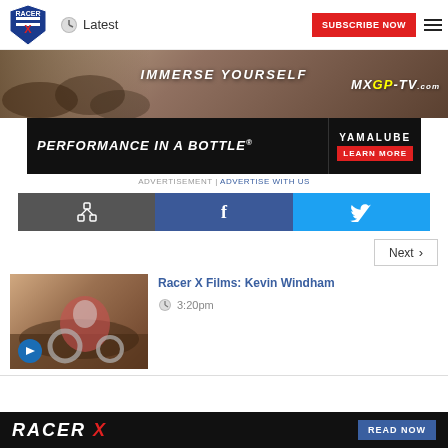Racer X | Latest | SUBSCRIBE NOW
[Figure (photo): MXGP-TV.com banner: motocross riders racing, text 'IMMERSE YOURSELF' and MXGP-TV.com logo]
[Figure (photo): Yamalube advertisement: 'PERFORMANCE IN A BOTTLE' with Learn More button and Yamalube branding]
ADVERTISEMENT | ADVERTISE WITH US
[Figure (infographic): Social sharing buttons: share (native), Facebook, Twitter]
Next >
[Figure (photo): Thumbnail photo of Kevin Windham on motocross bike with video camera overlay icon]
Racer X Films: Kevin Windham
3:20pm
RACER X | READ NOW